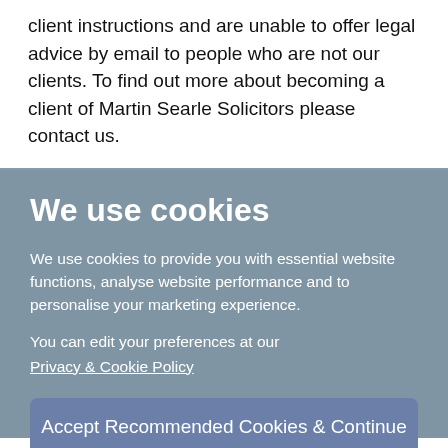client instructions and are unable to offer legal advice by email to people who are not our clients. To find out more about becoming a client of Martin Searle Solicitors please contact us.
We use cookies
We use cookies to provide you with essential website functions, analyse website performance and to personalise your marketing experience.
You can edit your preferences at our Privacy & Cookie Policy
Accept Recommended Cookies & Continue